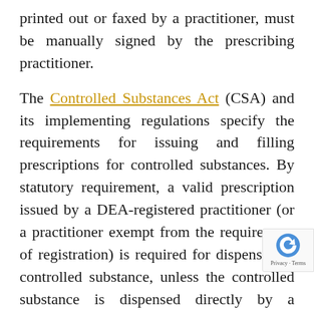printed out or faxed by a practitioner, must be manually signed by the prescribing practitioner.
The Controlled Substances Act (CSA) and its implementing regulations specify the requirements for issuing and filling prescriptions for controlled substances. By statutory requirement, a valid prescription issued by a DEA-registered practitioner (or a practitioner exempt from the requirement of registration) is required for dispensing a controlled substance, unless the controlled substance is dispensed directly by a practitioner. 21 U.S.C. 829; 21 CFR 1306.11.
The CSA provides that a pharmacist may disp… schedule III and IV controlled substances pu… to a “written or oral prescription.” 21 U.S.C. 829(b).